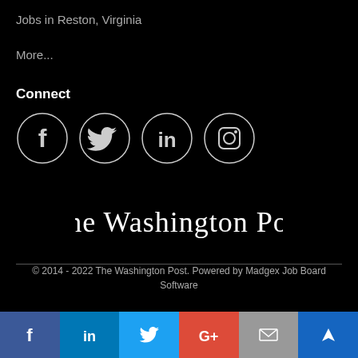Jobs in Reston, Virginia
More...
Connect
[Figure (illustration): Social media icons: Facebook, Twitter, LinkedIn, Instagram in circular outlines on black background]
[Figure (logo): The Washington Post logo in blackletter/Gothic font]
© 2014 - 2022 The Washington Post. Powered by Madgex Job Board Software
[Figure (illustration): Bottom social sharing bar with Facebook, LinkedIn, Twitter, Google+, Email, and bookmark icons]